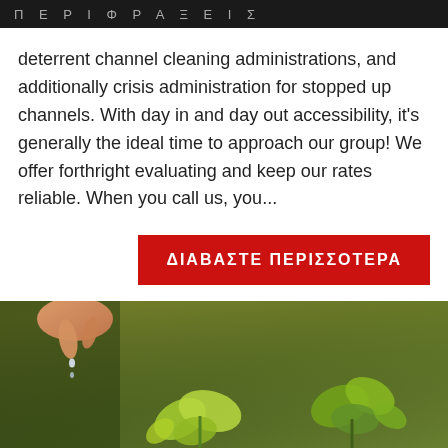Π Ε Ρ Ι Φ Ρ Α Ξ Ε Ι Σ
deterrent channel cleaning administrations, and additionally crisis administration for stopped up channels. With day in and day out accessibility, it's generally the ideal time to approach our group! We offer forthright evaluating and keep our rates reliable. When you call us, you...
ΔΙΑΒΑΣΤΕ ΠΕΡΙΣΣΟΤΕΡΑ
[Figure (photo): A hand dropping water onto a small green seedling plant against a dark green background.]